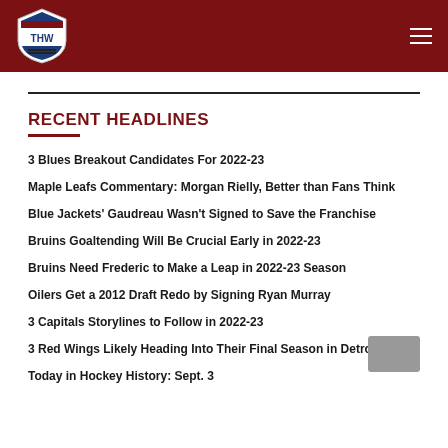[Figure (logo): THW hockey website logo shield on dark red header bar with hamburger menu icon]
RECENT HEADLINES
3 Blues Breakout Candidates For 2022-23
Maple Leafs Commentary: Morgan Rielly, Better than Fans Think
Blue Jackets' Gaudreau Wasn't Signed to Save the Franchise
Bruins Goaltending Will Be Crucial Early in 2022-23
Bruins Need Frederic to Make a Leap in 2022-23 Season
Oilers Get a 2012 Draft Redo by Signing Ryan Murray
3 Capitals Storylines to Follow in 2022-23
3 Red Wings Likely Heading Into Their Final Season in Detroit
Today in Hockey History: Sept. 3